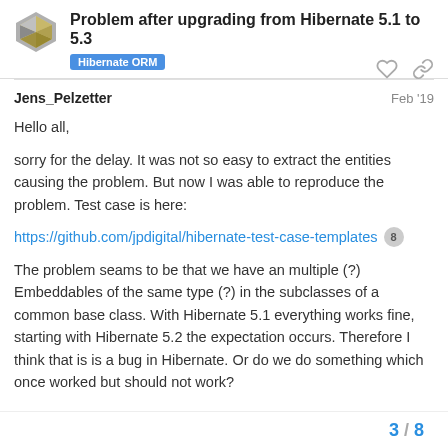Problem after upgrading from Hibernate 5.1 to 5.3 — Hibernate ORM
Jens_Pelzetter — Feb '19
Hello all,
sorry for the delay. It was not so easy to extract the entities causing the problem. But now I was able to reproduce the problem. Test case is here: https://github.com/jpdigital/hibernate-test-case-templates
The problem seams to be that we have an multiple (?) Embeddables of the same type (?) in the subclasses of a common base class. With Hibernate 5.1 everything works fine, starting with Hibernate 5.2 the expectation occurs. Therefore I think that is is a bug in Hibernate. Or do we do something which once worked but should not work?
3 / 8